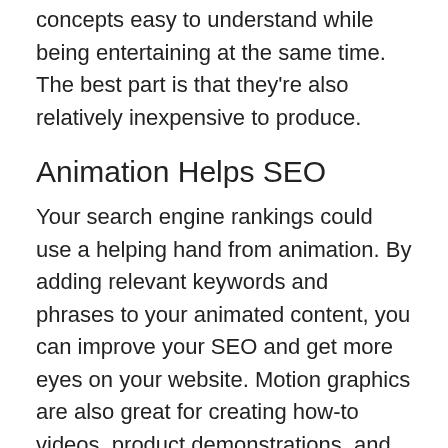concepts easy to understand while being entertaining at the same time. The best part is that they're also relatively inexpensive to produce.
Animation Helps SEO
Your search engine rankings could use a helping hand from animation. By adding relevant keywords and phrases to your animated content, you can improve your SEO and get more eyes on your website. Motion graphics are also great for creating how-to videos, product demonstrations, and other types of explainer content that can help improve your search engine ranking.
Having good SEO is important for any digital marketing campaign, and motion graphics can be a big help. You'll start getting discovered by more